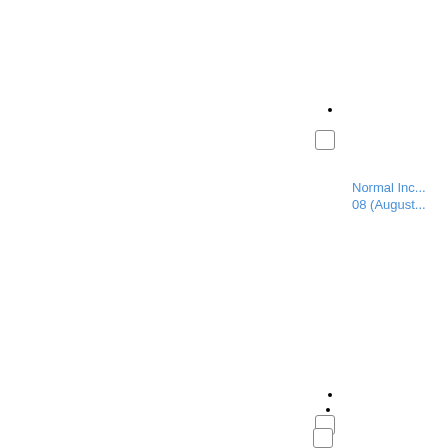[Figure (other): Checkbox with dot above and blue label text 'Normal Inc... 08 (August...' partially visible at right]
[Figure (other): Checkbox with dot above and blue label text '1964 La To...' partially visible at right]
[Figure (other): Checkbox with dot above, partially visible at bottom]